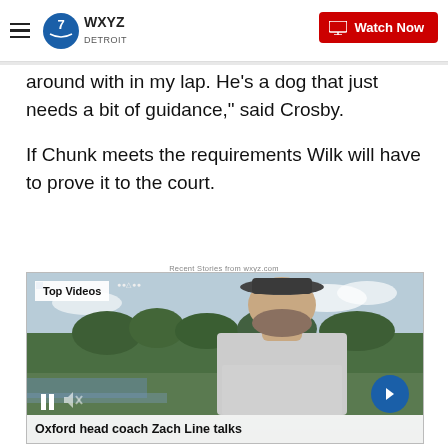WXYZ Detroit — Watch Now
around with in my lap. He's a dog that just needs a bit of guidance," said Crosby.
If Chunk meets the requirements Wilk will have to prove it to the court.
Recent Stories from wxyz.com
[Figure (screenshot): Video thumbnail showing a man being interviewed outdoors near a blue track, wearing a grey shirt and dark baseball cap. Overlay shows 'Top Videos' label, pause/mute controls, a blue arrow next button, and a caption bar reading 'Oxford head coach Zach Line talks']